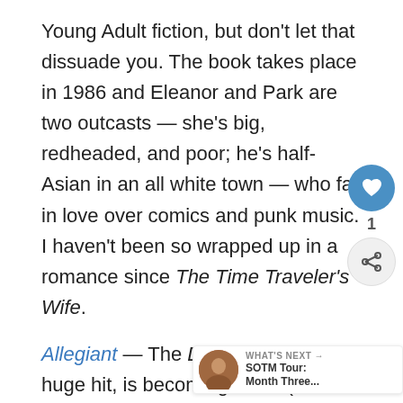Young Adult fiction, but don't let that dissuade you. The book takes place in 1986 and Eleanor and Park are two outcasts — she's big, redheaded, and poor; he's half-Asian in an all white town — who fall in love over comics and punk music. I haven't been so wrapped up in a romance since The Time Traveler's Wife.
Allegiant — The Divergent series, a huge hit, is becoming a film (with Kate Winslet!) in the spring. But if I were the studio, I'd be quaking in my boots, because Allegiant, the recently released conclusion to the series, is so poorly written and has infuriated so many readers that many are refusing to see the movie if they're going to end this way.